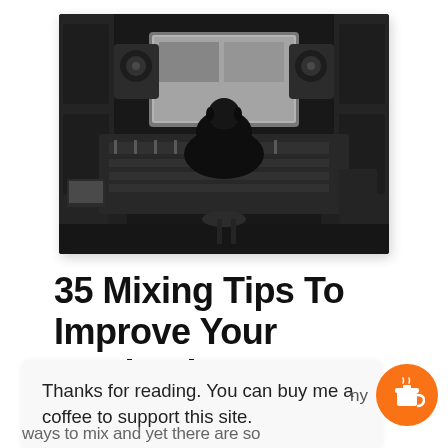[Figure (photo): Black and white photo of a music producer sitting at a large mixing console in a recording studio, facing a large monitor screen, with studio monitor speakers on either side.]
35 Mixing Tips To Improve Your Production
Thanks for reading. You can buy me a coffee to support this site.
ways to mix and yet there are so